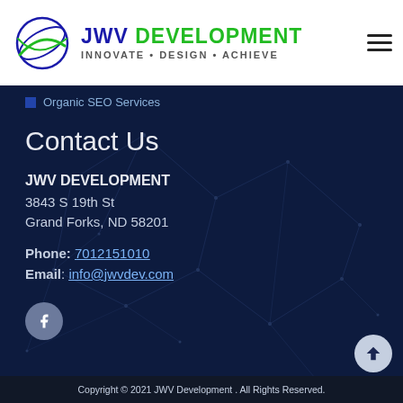JWV DEVELOPMENT INNOVATE • DESIGN • ACHIEVE
Organic SEO Services
Contact Us
JWV DEVELOPMENT
3843 S 19th St
Grand Forks, ND 58201
Phone: 7012151010
Email: info@jwvdev.com
[Figure (illustration): Facebook social media circular icon button]
[Figure (illustration): Scroll to top arrow button]
Copyright © 2021 JWV Development . All Rights Reserved.